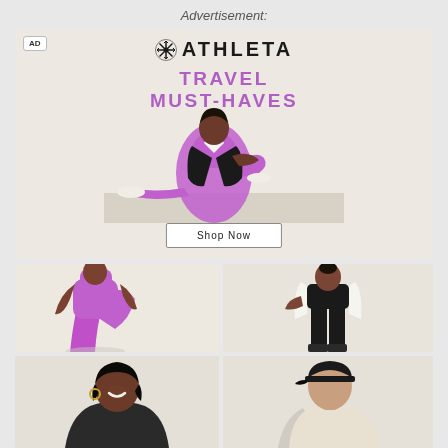Advertisement:
[Figure (photo): Athleta advertisement banner showing a woman in purple leggings and black blazer sitting on a beige surface, with 'TRAVEL MUST-HAVES' text and a 'Shop Now' button. Athleta logo with snowflake icon at top.]
[Figure (photo): Bottom left image: woman wearing bright purple/magenta leggings and matching sports bra, posing against light background]
[Figure (photo): Bottom right image: woman in black outfit with white blazer, wearing sandals, standing against light background]
[Figure (photo): Bottom lower-left: smiling Black woman with hoop earrings against light background]
[Figure (photo): Bottom lower-right: person wearing black baseball cap against light background]